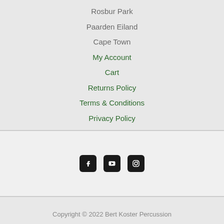Rosbur Park
Paarden Eiland
Cape Town
My Account
Cart
Returns Policy
Terms & Conditions
Privacy Policy
[Figure (infographic): Social media icons for Facebook, YouTube, and Instagram, displayed as white icons on black rounded square backgrounds]
Copyright © 2022 Bert Koster Percussion